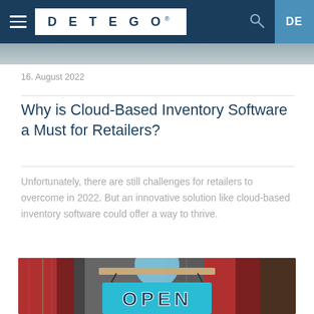DETEGO® — Navigation bar with hamburger menu, logo, search icon, DE language selector
[Figure (photo): Partial top image strip — blurred storefront or retail scene]
16. August 2022
Why is Cloud-Based Inventory Software a Must for Retailers?
Unfortunately, there are still challenges for retailers to overcome in 2022. But an innovative solution like cloud-based inventory software could offer a way to thrive.
[Figure (photo): Photo of a retail store window with a blue OPEN sign hanging, blurred bookstore shelves in the background]